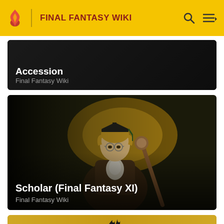FINAL FANTASY WIKI
Accession
Final Fantasy Wiki
[Figure (illustration): Anime-style scholar character wearing a graduation cap and glasses, holding a staff, with a golden glowing background. Character wears a dark brown academic robe.]
Scholar (Final Fantasy XI)
Final Fantasy Wiki
[Figure (illustration): Partial bottom card showing golden/yellow background with dark plant silhouette]